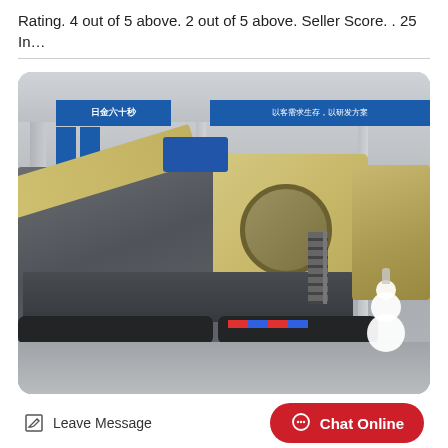Rating. 4 out of 5 above. 2 out of 5 above. Seller Score. . 25 In…
[Figure (photo): Industrial mobile jaw crusher / screening plant inside a factory/warehouse. The large machine has a gray steel frame, yellow/cream colored crusher head with a circular disc, a conveyor arm on the left side, tracked undercarriage, and service stairs. Blue Chinese-language banners hang on the warehouse walls in the background. A small snowman/robot mascot is visible in the lower right of the image.]
Leave Message
Chat Online